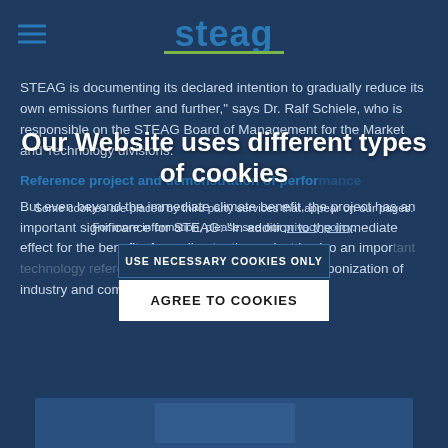steag
STEAG is documenting its declared intention to gradually reduce its own emissions further and further," says Dr. Ralf Schiele, who is responsible on the STEAG Board of Management for the Market and Technology divisions.
Reference project and demonstration of performance
But even beyond the immediate climate benefit, the project has an important significance for STEAG: "In addition to the immediate effect for the benefit of our climate, the project is also an important technology reference for the ongoing decarbonization of industry and commerce," says Ralf Schiele.
Our Website uses different types of cookies
Some cookies are placed by third party services that appear on our pages. For more information, please see our privacy policy.
USE NECESSARY COOKIES ONLY
AGREE TO COOKIES